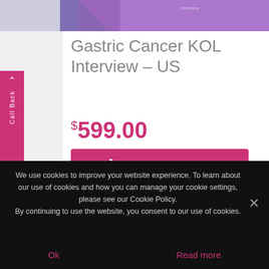[Figure (screenshot): Top portion of a product page with a decorative header image in purple/blue tones]
Gastric Cancer KOL Interview – US
$599.00
[Figure (other): Add to cart button in pink/magenta color with shopping cart icon]
This interview with a US-based key opinion leader (KOL) provides insights into prescribing habits, key marketed brands, and late-phase pipeline therapies for gastric cancer. Disease stratifications by staging and origin of the primary tumor, as well as unmet
We use cookies to improve your website experience. To learn about our use of cookies and how you can manage your cookie settings, please see our Cookie Policy.
By continuing to use the website, you consent to our use of cookies.
Ok
Read more